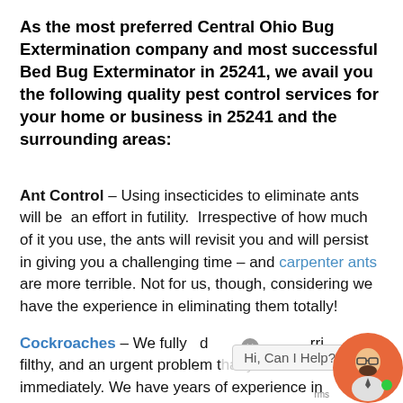As the most preferred Central Ohio Bug Extermination company and most successful Bed Bug Exterminator in 25241, we avail you the following quality pest control services for your home or business in 25241 and the surrounding areas:
Ant Control – Using insecticides to eliminate ants will be an effort in futility. Irrespective of how much of it you use, the ants will revisit you and will persist in giving you a challenging time – and carpenter ants are more terrible. Not for us, though, considering we have the experience in eliminating them totally!
Cockroaches – We fully understand that roaches are terrible, filthy, and an urgent problem that you have to eliminate immediately. We have years of experience in assisting
[Figure (other): Chat widget overlay showing a chat avatar with a man wearing glasses, a chat bubble saying 'Hi, Can I Help?', a close button, and a 'rms' text (part of 'terms')]